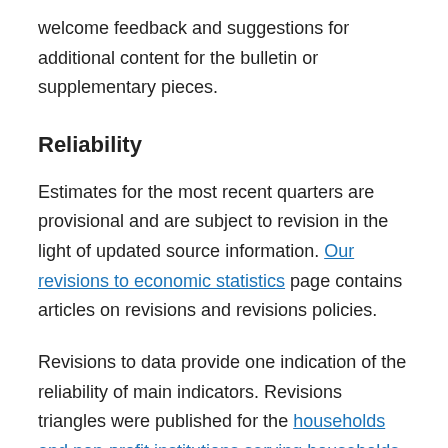welcome feedback and suggestions for additional content for the bulletin or supplementary pieces.
Reliability
Estimates for the most recent quarters are provisional and are subject to revision in the light of updated source information. Our revisions to economic statistics page contains articles on revisions and revisions policies.
Revisions to data provide one indication of the reliability of main indicators. Revisions triangles were published for the households and non-profit institutions serving households saving ratio. However,